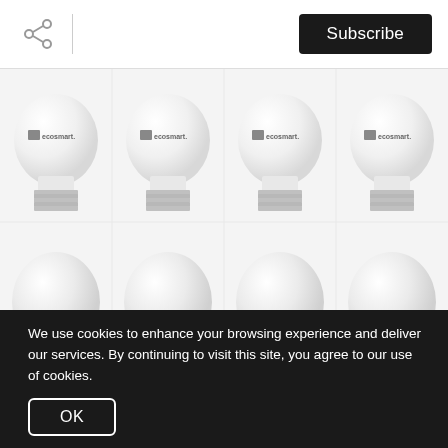[Figure (screenshot): Screenshot of a webpage showing EcoSmart LED light bulbs product page. Top bar has a share icon, vertical divider, and a black Subscribe button. Main content area shows 8 EcoSmart branded LED bulbs arranged in a 4x2 grid against a light background. Lower portion has a black cookie consent banner.]
We use cookies to enhance your browsing experience and deliver our services. By continuing to visit this site, you agree to our use of cookies.
OK